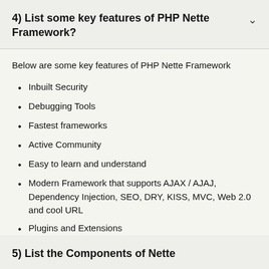4) List some key features of PHP Nette Framework?
Below are some key features of PHP Nette Framework
Inbuilt Security
Debugging Tools
Fastest frameworks
Active Community
Easy to learn and understand
Modern Framework that supports AJAX / AJAJ, Dependency Injection, SEO, DRY, KISS, MVC, Web 2.0 and cool URL
Plugins and Extensions
Open Source License
5) List the Components of Nette